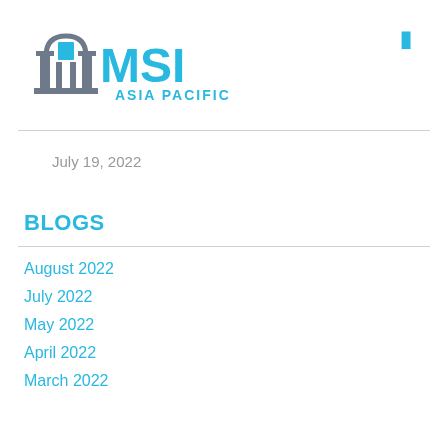[Figure (logo): MSI Asia Pacific logo with building/arch icon in grey and blue, text MSI in large blue letters and ASIA PACIFIC below]
July 19, 2022
BLOGS
August 2022
July 2022
May 2022
April 2022
March 2022